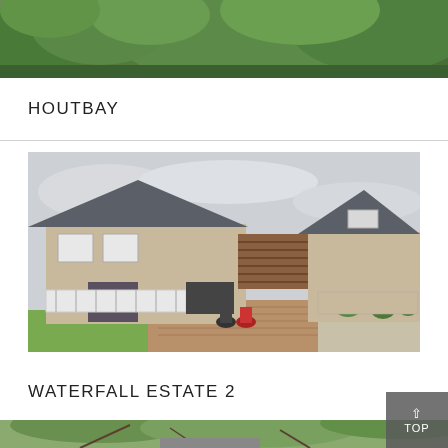[Figure (photo): Partial top view of a green hillside with dense tropical/coastal vegetation, cropped at the top of the page.]
HOUTBAY
[Figure (photo): Exterior photo of a large double-storey residential home in a coastal estate. The house has a beige/sand coloured facade with grey slate roofing, white horizontal fence, brick paved driveway, and wood-slat feature wall. Motorcycles are parked near the entrance.]
WATERFALL ESTATE 2
[Figure (photo): Partial bottom view of a lush garden/tree canopy with a glimpse of a house roof below, cropped at the bottom of the page.]